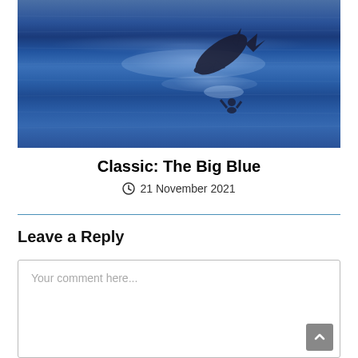[Figure (photo): Ocean scene with a dolphin leaping out of the sparkling blue water and a silhouette of a person in the water below]
Classic: The Big Blue
21 November 2021
Leave a Reply
Your comment here...